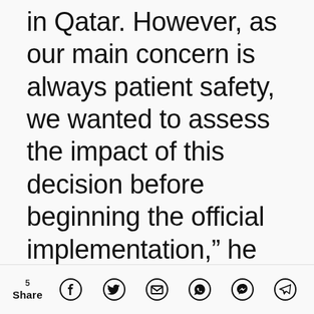in Qatar. However, as our main concern is always patient safety, we wanted to assess the impact of this decision before beginning the official implementation," he
5 Share [social share icons: Facebook, Twitter, Email, WhatsApp, Messenger, Telegram]